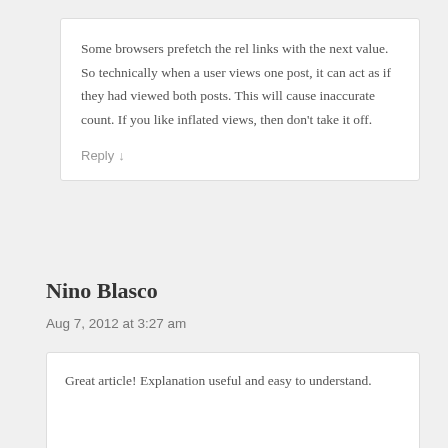Some browsers prefetch the rel links with the next value. So technically when a user views one post, it can act as if they had viewed both posts. This will cause inaccurate count. If you like inflated views, then don't take it off.
Reply ↓
Nino Blasco
Aug 7, 2012 at 3:27 am
Great article! Explanation useful and easy to understand.